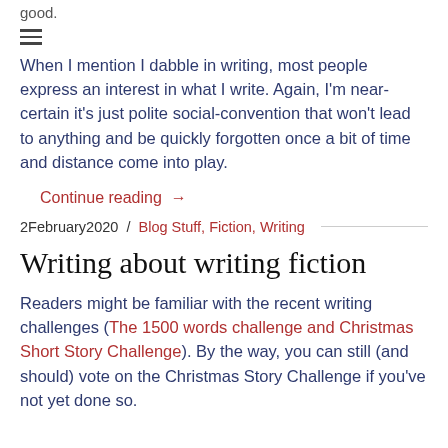good.
When I mention I dabble in writing, most people express an interest in what I write. Again, I'm near-certain it's just polite social-convention that won't lead to anything and be quickly forgotten once a bit of time and distance come into play.
Continue reading →
2February2020 / Blog Stuff, Fiction, Writing
Writing about writing fiction
Readers might be familiar with the recent writing challenges (The 1500 words challenge and Christmas Short Story Challenge). By the way, you can still (and should) vote on the Christmas Story Challenge if you've not yet done so.